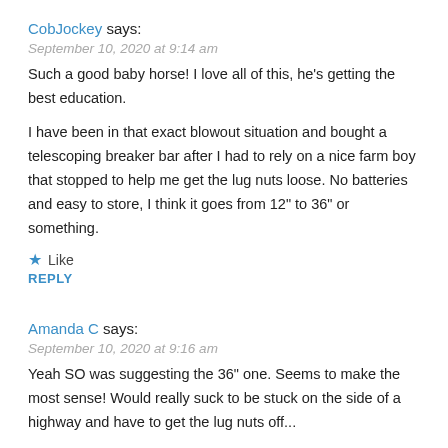CobJockey says:
September 10, 2020 at 9:14 am
Such a good baby horse! I love all of this, he's getting the best education.
I have been in that exact blowout situation and bought a telescoping breaker bar after I had to rely on a nice farm boy that stopped to help me get the lug nuts loose. No batteries and easy to store, I think it goes from 12" to 36" or something.
★ Like
REPLY
Amanda C says:
September 10, 2020 at 9:16 am
Yeah SO was suggesting the 36" one. Seems to make the most sense! Would really suck to be stuck on the side of a highway and have to get the lug nuts off...